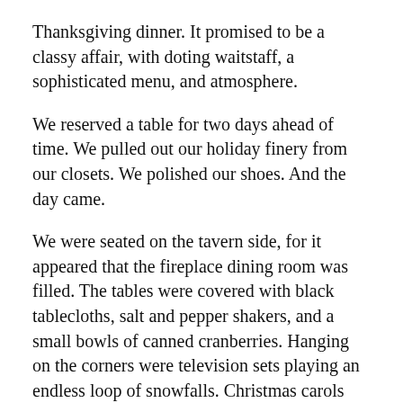Thanksgiving dinner. It promised to be a classy affair, with doting waitstaff, a sophisticated menu, and atmosphere.
We reserved a table for two days ahead of time. We pulled out our holiday finery from our closets. We polished our shoes. And the day came.
We were seated on the tavern side, for it appeared that the fireplace dining room was filled. The tables were covered with black tablecloths, salt and pepper shakers, and a small bowls of canned cranberries. Hanging on the corners were television sets playing an endless loop of snowfalls. Christmas carols played over the speakers.
Our first course was a starter of a shrimp and spinach stuffed portobello mushroom topped with a questionable white clump of what looked like cheese. I